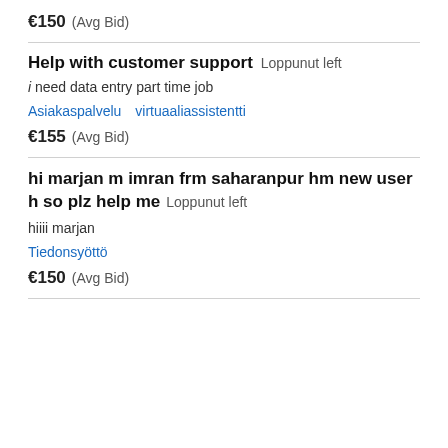€150  (Avg Bid)
Help with customer support  Loppunut left
i need data entry part time job
Asiakaspalvelu   virtuaaliassistentti
€155  (Avg Bid)
hi marjan m imran frm saharanpur hm new user h so plz help me  Loppunut left
hiiii marjan
Tiedonsyöttö
€150  (Avg Bid)